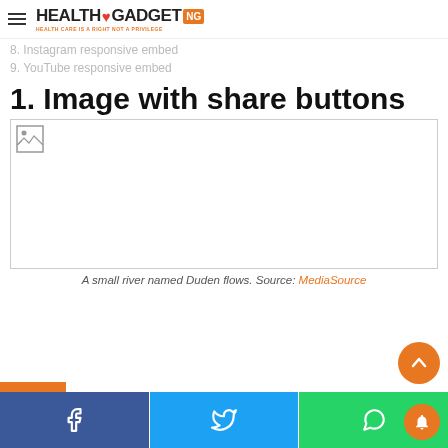Health Gadget NG — HEALTH CARE IS A RIGHT NOT A PRIVILEGE
8. Instagram responsive embed
9. YouTube responsive embed
1. Image with share buttons
[Figure (photo): Broken/unloaded image placeholder with border, representing a photo with share buttons]
A small river named Duden flows. Source: MediaSource